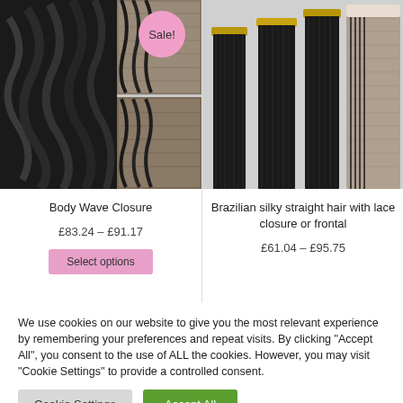[Figure (photo): Body Wave Closure hair product image with Sale badge, showing wavy black hair bundles and lace closure pieces]
Body Wave Closure
£83.24 – £91.17
[Figure (photo): Brazilian silky straight hair with lace closure or frontal, showing straight black hair bundles and lace closure piece]
Brazilian silky straight hair with lace closure or frontal
£61.04 – £95.75
We use cookies on our website to give you the most relevant experience by remembering your preferences and repeat visits. By clicking "Accept All", you consent to the use of ALL the cookies. However, you may visit "Cookie Settings" to provide a controlled consent.